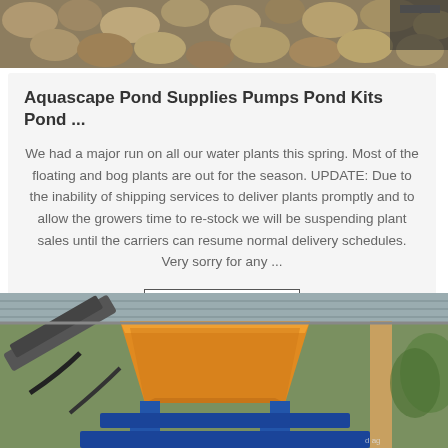[Figure (photo): Top image showing rocks/stones aggregate close-up with brownish-tan colors]
Aquascape Pond Supplies Pumps Pond Kits Pond ...
We had a major run on all our water plants this spring. Most of the floating and bog plants are out for the season. UPDATE: Due to the inability of shipping services to deliver plants promptly and to allow the growers time to re-stock we will be suspending plant sales until the carriers can resume normal delivery schedules. Very sorry for any ...
Get Price
[Figure (photo): Bottom photo showing industrial orange hopper/bin on blue machinery frame under a corrugated metal roof]